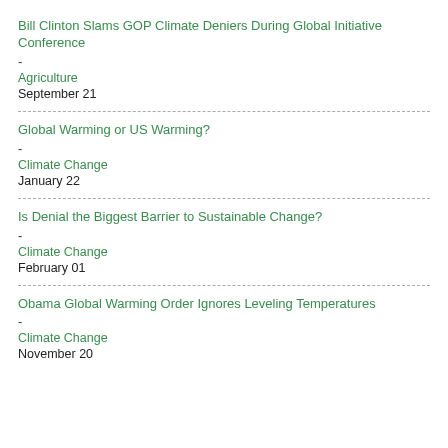Bill Clinton Slams GOP Climate Deniers During Global Initiative Conference
-
Agriculture
September 21
Global Warming or US Warming?
-
Climate Change
January 22
Is Denial the Biggest Barrier to Sustainable Change?
-
Climate Change
February 01
Obama Global Warming Order Ignores Leveling Temperatures
-
Climate Change
November 20